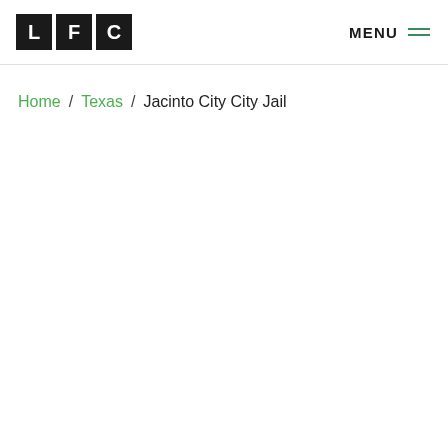[Figure (logo): LFC logo — three black squares each containing a white letter: L, F, C]
MENU ☰
Home / Texas / Jacinto City City Jail